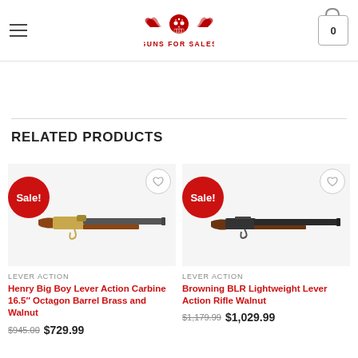Guns For Sales – navigation bar
Shipping Weight
10,000 Pounds
RELATED PRODUCTS
[Figure (photo): Henry Big Boy Lever Action Carbine rifle with brass receiver and walnut stock, shown in profile]
LEVER ACTION
Henry Big Boy Lever Action Carbine 16.5″ Octagon Barrel Brass and Walnut
$945.00  $729.99
[Figure (photo): Browning BLR Lightweight Lever Action Rifle with walnut stock, shown in profile]
LEVER ACTION
Browning BLR Lightweight Lever Action Rifle Walnut
$1,179.99  $1,029.99